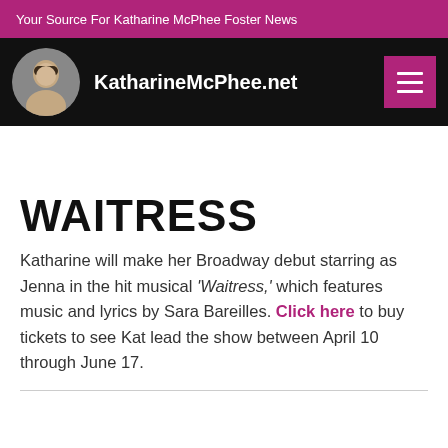Your Source For Katharine McPhee Foster News
KatharineMcPhee.net
WAITRESS
Katharine will make her Broadway debut starring as Jenna in the hit musical ‘Waitress,’ which features music and lyrics by Sara Bareilles. Click here to buy tickets to see Kat lead the show between April 10 through June 17.